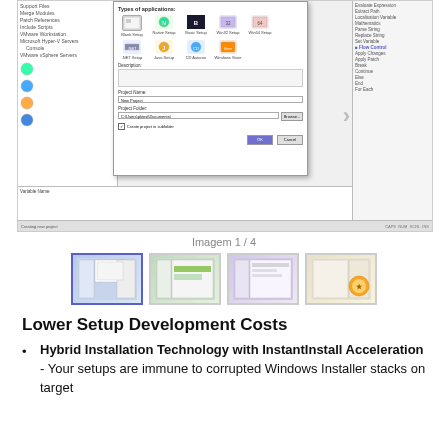[Figure (screenshot): Software IDE screenshot showing a 'New Project' dialog with application type icons (Blank Setup, Native Setup, Basic Setup, Win32 Setup, Win64 Setup, .NET Setup, Java Setup, CD Autorun, Windows Store), project name field showing 'New Project', project folder field showing 'C:\Users\pktest\Documents\', Browse button, Create project in subfolder checkbox, OK and Cancel buttons. Left panel shows project tree. Right panel shows script actions list including Evaluate Expression, Extract Path, Localisation Variable, Mathematics, Parse String, Replace String, Set Variable, Flow Control, Apply Changes, Apply Patch, Break, Continue, Else, End, For Each.]
Imagem 1 / 4
[Figure (screenshot): Thumbnail 1 of 4 - software IDE screenshot (active/selected)]
[Figure (screenshot): Thumbnail 2 of 4 - software IDE screenshot]
[Figure (screenshot): Thumbnail 3 of 4 - software IDE screenshot]
[Figure (screenshot): Thumbnail 4 of 4 - software IDE screenshot with logo]
Lower Setup Development Costs
Hybrid Installation Technology with InstantInstall Acceleration - Your setups are immune to corrupted Windows Installer stacks on target